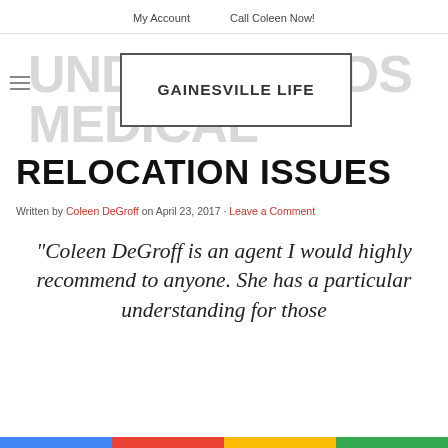My Account   Call Coleen Now!
[Figure (logo): Website header with 'UNDERSTANDS MEDICAL' watermark text in grey, a bordered box reading 'GAINESVILLE LIFE', and a hamburger menu icon on the left.]
RELOCATION ISSUES
Written by Coleen DeGroff on April 23, 2017 · Leave a Comment
“Coleen DeGroff is an agent I would highly recommend to anyone. She has a particular understanding for those